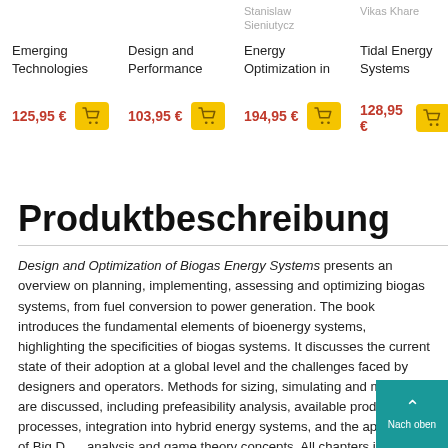Emerging Technologies
Design and Performance
Stanislaw Sieniutycz — Energy Optimization in
Vikas Khare — Tidal Energy Systems
125,95 €
103,95 €
194,95 €
128,95 €
Produktbeschreibung
Design and Optimization of Biogas Energy Systems presents an overview on planning, implementing, assessing and optimizing biogas systems, from fuel conversion to power generation. The book introduces the fundamental elements of bioenergy systems, highlighting the specificities of biogas systems. It discusses the current state of their adoption at a global level and the challenges faced by designers and operators. Methods for sizing, simulating and modeling are discussed, including prefeasibility analysis, available production processes, integration into hybrid energy systems, and the application of Big Data analysis and game theory concepts. All chapters include real-life examples and exercises to illustrate the topics being covered.